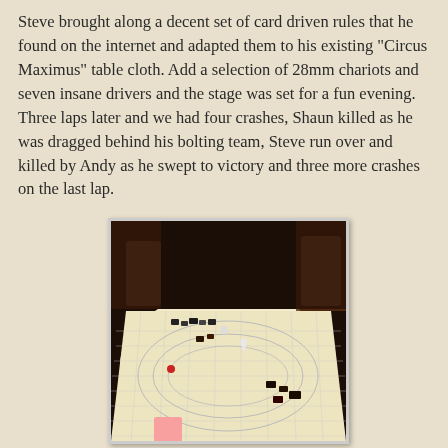Steve brought along a decent set of card driven rules that he found on the internet and adapted them to his existing "Circus Maximus" table cloth. Add a selection of 28mm chariots and seven insane drivers and the stage was set for a fun evening. Three laps later and we had four crashes, Shaun killed as he was dragged behind his bolting team, Steve run over and killed by Andy as he swept to victory and three more crashes on the last lap.
[Figure (photo): Photograph of a table with a Circus Maximus game mat (cream colored cloth with grid lines and oval race track markings) laid out on a table. Several 28mm chariot miniatures are positioned around the track. Playing cards are visible at the bottom edge. The room background shows chairs and furniture.]